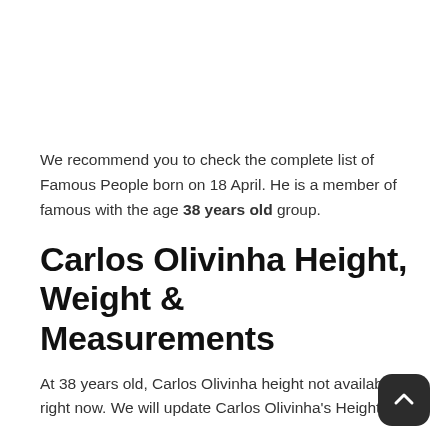We recommend you to check the complete list of Famous People born on 18 April. He is a member of famous with the age 38 years old group.
Carlos Olivinha Height, Weight & Measurements
At 38 years old, Carlos Olivinha height not available right now. We will update Carlos Olivinha's Height,